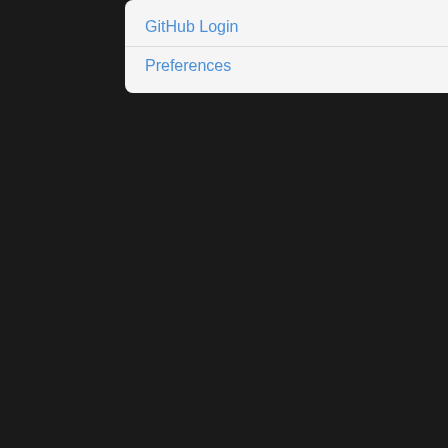GitHub Login
Preferences
| Field | Value |
| --- | --- |
| Reported by: | jdhoek |
| Priority: | low |
| Component: | misc |
| Keywords: |  |
| Blocked by: |  |
Description
I'll start by noting that this is a responsible at all.
The past few days I've trying least). It boils down to this: wh WOFF font-files. As soon as b after the DOMContentLoaded
I have created a zip-archive w
A HTML file "twice.html" that l loads a (free software) font.
A HTML file "once.html" whick
The double request issue onl included directly in the HTML